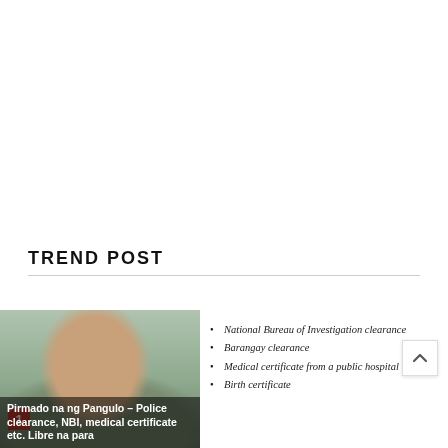TREND POST
[Figure (photo): Photo of a man (appears to be a politician) with a plant background; shown with a red badge numbered 1 in the lower left corner.]
National Bureau of Investigation clearance
Barangay clearance
Medical certificate from a public hospital
Birth certificate
Pirmado na ng Pangulo – Police clearance, NBI, medical certificate etc. Libre na para